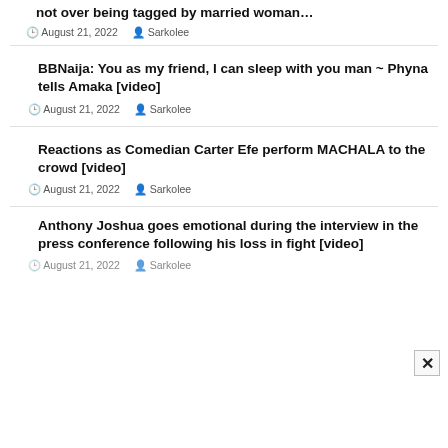not over being tagged by married woman…
August 21, 2022   Sarkolee
BBNaija: You as my friend, I can sleep with you man ~ Phyna tells Amaka [video]
August 21, 2022   Sarkolee
Reactions as Comedian Carter Efe perform MACHALA to the crowd [video]
August 21, 2022   Sarkolee
Anthony Joshua goes emotional during the interview in the press conference following his loss in fight [video]
August 21, 2022   Sarkolee